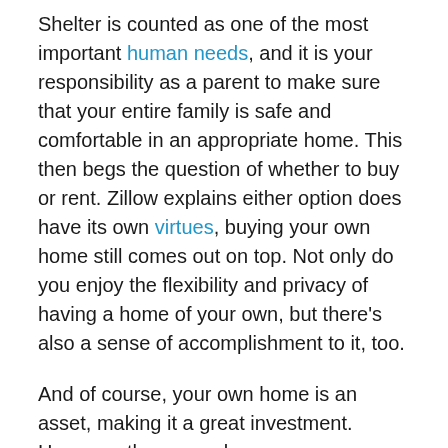Shelter is counted as one of the most important human needs, and it is your responsibility as a parent to make sure that your entire family is safe and comfortable in an appropriate home. This then begs the question of whether to buy or rent. Zillow explains either option does have its own virtues, buying your own home still comes out on top. Not only do you enjoy the flexibility and privacy of having a home of your own, but there's also a sense of accomplishment to it, too.
And of course, your own home is an asset, making it a great investment. However, there are also some considerations to think about before you take the leap and purchase a property, such as your down payment.
Get to know the basics about down payments. For instance, conventional loans normally require 20 percent